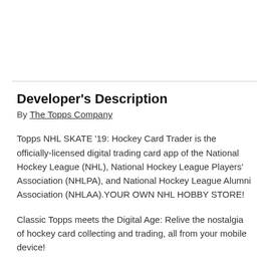Developer's Description
By The Topps Company
Topps NHL SKATE '19: Hockey Card Trader is the officially-licensed digital trading card app of the National Hockey League (NHL), National Hockey League Players' Association (NHLPA), and National Hockey League Alumni Association (NHLAA).YOUR OWN NHL HOBBY STORE!
Classic Topps meets the Digital Age: Relive the nostalgia of hockey card collecting and trading, all from your mobile device!